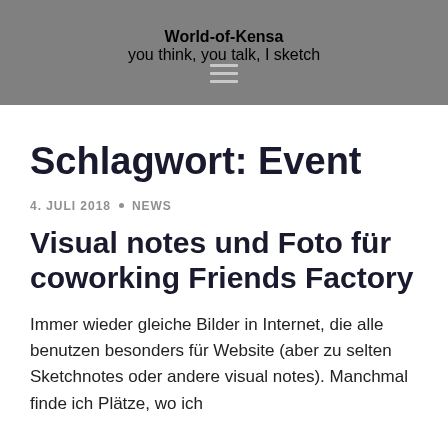World-of-Kensa
you think, you talk, I sketch
Schlagwort: Event
4. JULI 2018 • NEWS
Visual notes und Foto für coworking Friends Factory
Immer wieder gleiche Bilder in Internet, die alle benutzen besonders für Website (aber zu selten Sketchnotes oder andere visual notes). Manchmal finde ich Plätze, wo ich